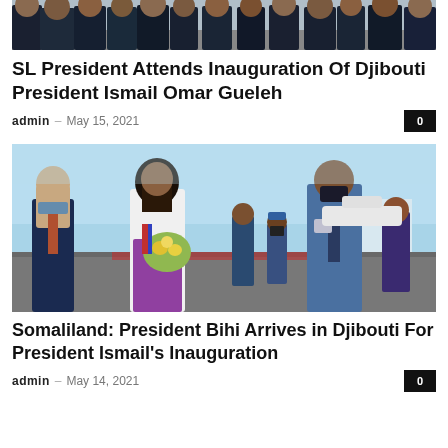[Figure (photo): Partial view of people in dark suits standing on tarmac, cropped at top]
SL President Attends Inauguration Of Djibouti President Ismail Omar Gueleh
admin – May 15, 2021
[Figure (photo): President Bihi arriving at Djibouti airport, being greeted by a woman presenting flowers. Several officials and bystanders visible on tarmac with aircraft in background.]
Somaliland: President Bihi Arrives in Djibouti For President Ismail's Inauguration
admin – May 14, 2021